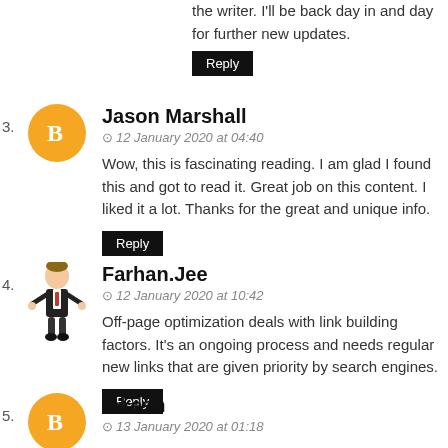the writer. I'll be back day in and day for further new updates.
Reply
Jason Marshall
12 January 2020 at 04:40
Wow, this is fascinating reading. I am glad I found this and got to read it. Great job on this content. I liked it a lot. Thanks for the great and unique info.
Reply
Farhan.Jee
12 January 2020 at 10:42
Off-page optimization deals with link building factors. It's an ongoing process and needs regular new links that are given priority by search engines.
Reply
lokesh
13 January 2020 at 01:18